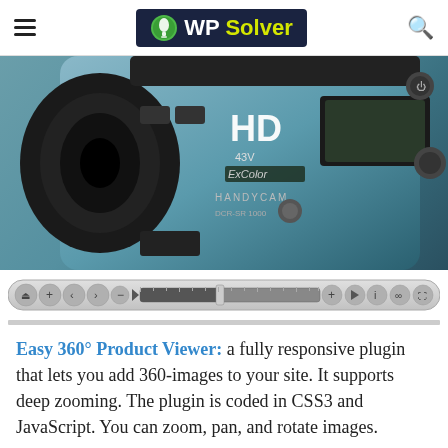WP Solver
[Figure (photo): Close-up of an HD camcorder/handycam, teal and black body, showing HD label, 43V, ExColor, Handycam branding]
[Figure (screenshot): Media player control bar with playback controls, progress bar, and various buttons]
Easy 360° Product Viewer: a fully responsive plugin that lets you add 360-images to your site. It supports deep zooming. The plugin is coded in CSS3 and JavaScript. You can zoom, pan, and rotate images.
Have you found better 360 panorama and virtual